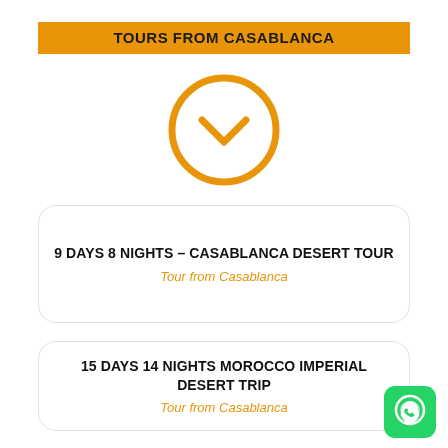TOURS FROM CASABLANCA
[Figure (illustration): Orange circle with a downward chevron/arrow icon in the center]
9 DAYS 8 NIGHTS – CASABLANCA DESERT TOUR
Tour from Casablanca
15 DAYS 14 NIGHTS MOROCCO IMPERIAL DESERT TRIP
Tour from Casablanca
[Figure (logo): WhatsApp green icon with phone handset in white circle]